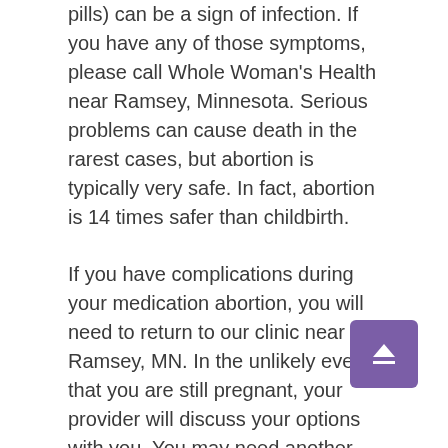pills) can be a sign of infection. If you have any of those symptoms, please call Whole Woman's Health near Ramsey, Minnesota. Serious problems can cause death in the rarest cases, but abortion is typically very safe. In fact, abortion is 14 times safer than childbirth.
If you have complications during your medication abortion, you will need to return to our clinic near Ramsey, MN. In the unlikely event that you are still pregnant, your provider will discuss your options with you. You may need another dose of medication or an in-clinic abortion procedure to end the pregnancy.
Like all medications, the abortion pill isn't right for everyone. If you have certain medical conditions or take certain medications, the abortion pill may not be right for you. Our providers serving Ramsey,